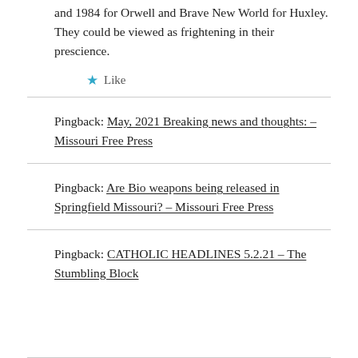and 1984 for Orwell and Brave New World for Huxley. They could be viewed as frightening in their prescience.
★ Like
Pingback: May, 2021 Breaking news and thoughts: – Missouri Free Press
Pingback: Are Bio weapons being released in Springfield Missouri? – Missouri Free Press
Pingback: CATHOLIC HEADLINES 5.2.21 – The Stumbling Block